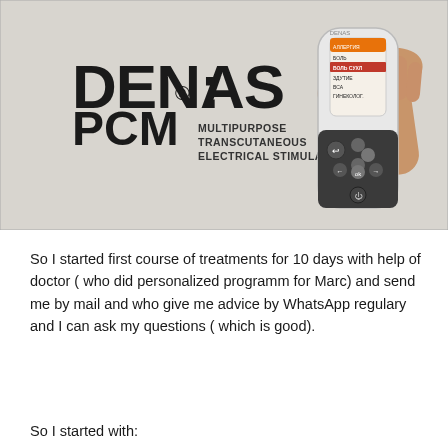[Figure (photo): Photo of the DENAS PCM device — a white handheld medical electrical stimulator being held in a hand. The device screen shows a Russian-language menu. Text on the backdrop reads 'DENAS® PCM' and 'MULTIPURPOSE TRANSCUTANEOUS ELECTRICAL STIMULATOR'.]
So I started first course of treatments for 10 days with help of doctor ( who did personalized programm for Marc) and send me by mail and who give me advice by WhatsApp regulary and I can ask my questions ( which is good).
So I started with: